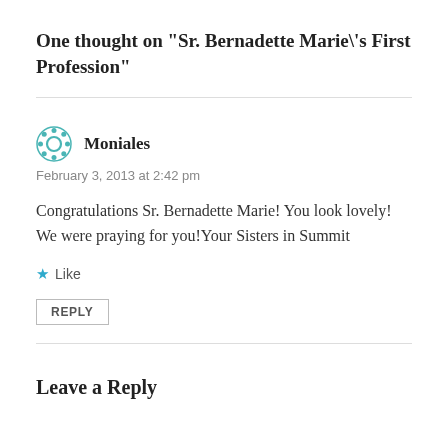One thought on “Sr. Bernadette Marie\'s First Profession”
Moniales
February 3, 2013 at 2:42 pm
Congratulations Sr. Bernadette Marie! You look lovely! We were praying for you!Your Sisters in Summit
Like
REPLY
Leave a Reply